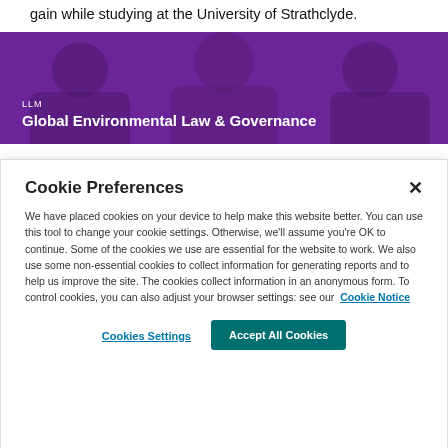gain while studying at the University of Strathclyde.
[Figure (photo): Purple-tinted banner photo of three people smiling, with overlay text reading 'LLM' and 'Global Environmental Law & Governance']
Cookie Preferences
We have placed cookies on your device to help make this website better. You can use this tool to change your cookie settings. Otherwise, we'll assume you're OK to continue. Some of the cookies we use are essential for the website to work. We also use some non-essential cookies to collect information for generating reports and to help us improve the site. The cookies collect information in an anonymous form. To control cookies, you can also adjust your browser settings: see our Cookie Notice
Cookies Settings
Accept All Cookies